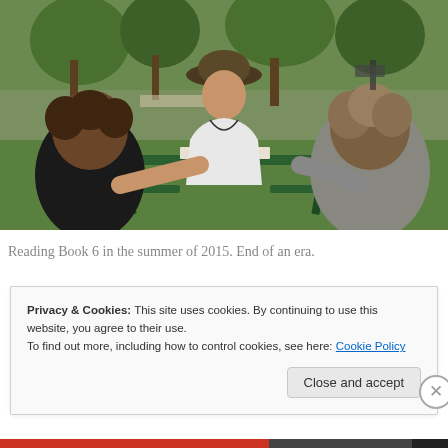[Figure (photo): Outdoor photo of a man wearing a hat sitting across a picnic table from two young people, appearing to read or discuss a book, set in a park with trees in the background.]
Reading Book 6 in the summer of 2015. End of an era.
Privacy & Cookies: This site uses cookies. By continuing to use this website, you agree to their use. To find out more, including how to control cookies, see here: Cookie Policy
Close and accept